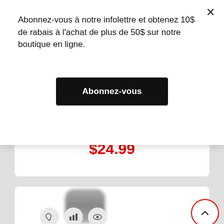Abonnez-vous à notre infolettre et obtenez 10$ de rabais à l'achat de plus de 50$ sur notre boutique en ligne.
Abonnez-vous
•••
$24.99
[Figure (photo): Blurred dark product (appears to be a small device) partially visible in a product card]
[Figure (infographic): Scroll-to-top button: red circle with upward chevron arrow]